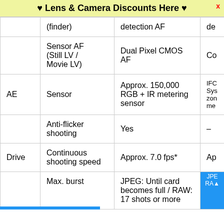♥ Lens & Camera Discounts Here ♥
|  |  | Canon EOS 5D Mark IV | ... |
| --- | --- | --- | --- |
|  | (finder) | detection AF | de |
|  | Sensor AF (Still LV / Movie LV) | Dual Pixel CMOS AF | Co |
| AE | Sensor | Approx. 150,000 RGB + IR metering sensor | IFC Sys zon me |
|  | Anti-flicker shooting | Yes | – |
| Drive | Continuous shooting speed | Approx. 7.0 fps* | Ap |
|  | Max. burst | JPEG: Until card becomes full / RAW: 17 shots or more | JPE RAY |